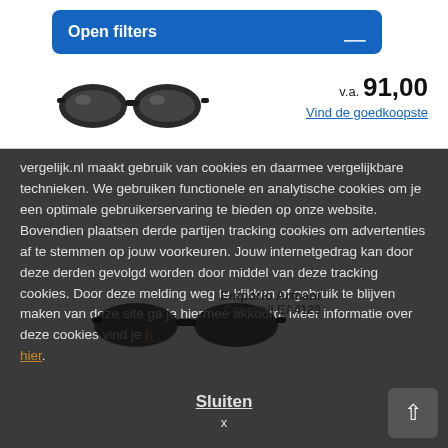[Figure (screenshot): Open filters button with blue background and filter/sliders icon on the right]
[Figure (photo): Sunglasses product image, dark frame sunglasses]
v.a. 91,00
Vind de goedkoopste
vergelijk.nl maakt gebruik van cookies en daarmee vergelijkbare technieken. We gebruiken functionele en analytische cookies om je een optimale gebruikerservaring te bieden op onze website. Bovendien plaatsen derde partijen tracking cookies om advertenties af te stemmen op jouw voorkeuren. Jouw internetgedrag kan door deze derden gevolgd worden door middel van deze tracking cookies. Door deze melding weg te klikken of gebruik te blijven maken van deze site ga je hiermee akkoord. Meer informatie over deze cookies vind je hier.
Sluiten
x